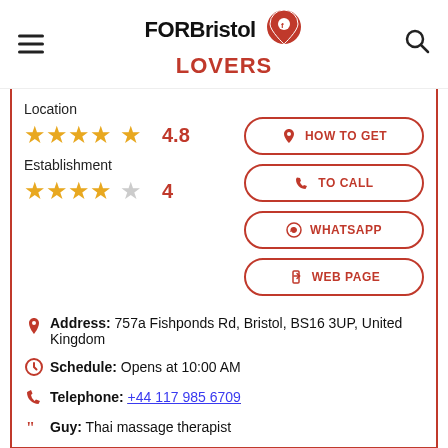FOR Bristol LOVERS
Location
4.8
Establishment
4
HOW TO GET
TO CALL
WHATSAPP
WEB PAGE
Address: 757a Fishponds Rd, Bristol, BS16 3UP, United Kingdom
Schedule: Opens at 10:00 AM
Telephone: +44 117 985 6709
Guy: Thai massage therapist